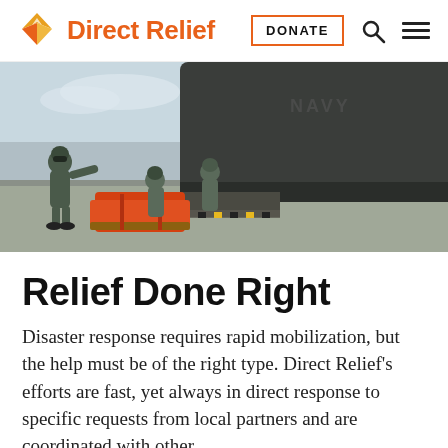Direct Relief | DONATE
[Figure (photo): Military personnel in green flight suits unloading cargo (orange pallet) from a Navy aircraft on a tarmac]
Relief Done Right
Disaster response requires rapid mobilization, but the help must be of the right type. Direct Relief's efforts are fast, yet always in direct response to specific requests from local partners and are coordinated with other